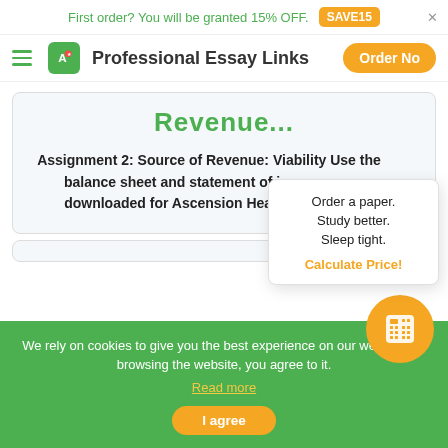First order? You will be granted 15% OFF. SAVE15
Professional Essay Links  Order Now
Revenue...
Assignment 2: Source of Revenue: Viability Use the balance sheet and statement of income you downloaded for Ascension Health during W...
Order a paper. Study better. Sleep tight. Calculate Price!
We rely on cookies to give you the best experience on our website. By browsing the website, you agree to it. Read more
I agree